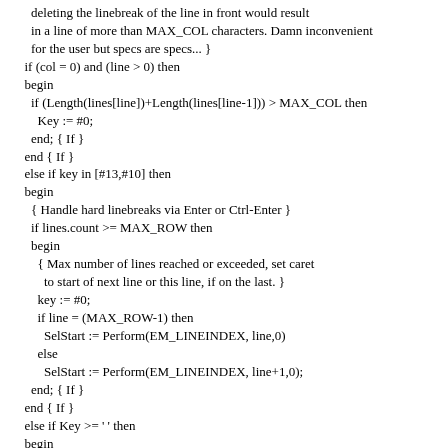deleting the linebreak of the line in front would result
in a line of more than MAX_COL characters. Damn inconvenient
for the user but specs are specs... }
if (col = 0) and (line > 0) then
begin
  if (Length(lines[line])+Length(lines[line-1])) > MAX_COL then
    Key := #0;
  end; { If }
end { If }
else if key in [#13,#10] then
begin
  { Handle hard linebreaks via Enter or Ctrl-Enter }
  if lines.count >= MAX_ROW then
  begin
    { Max number of lines reached or exceeded, set caret
      to start of next line or this line, if on the last. }
    key := #0;
    if line = (MAX_ROW-1) then
      SelStart := Perform(EM_LINEINDEX, line,0)
    else
      SelStart := Perform(EM_LINEINDEX, line+1,0);
  end; { If }
end { If }
else if Key >= ' ' then
begin
  { Do swallow key if current line has reached limit. }
  if Length( lines[line] ) >= MAX_COL then